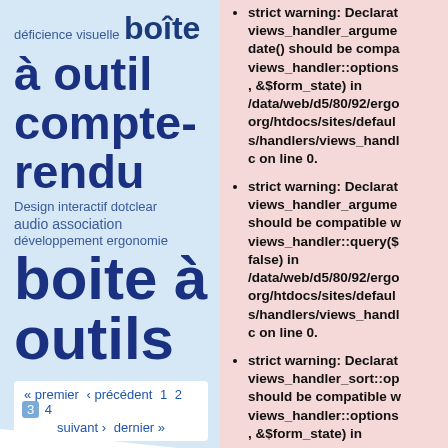[Figure (other): Word cloud with French terms related to accessibility/UX: déficience visuelle, boîte à outil compte-rendu, audio association, Design interactif dotclear, développement ergonomie, boite à outils]
strict warning: Declaration of views_handler_argument_date() should be compatible with views_handler::options_form(&$form, &$form_state) in /data/web/d5/80/92/ergo org/htdocs/sites/default/modules/views/handlers/views_handler_argument.inc on line 0.
strict warning: Declaration of views_handler_argument should be compatible with views_handler::query($group_by = false) in /data/web/d5/80/92/ergo org/htdocs/sites/default/modules/views/handlers/views_handler_argument.inc on line 0.
strict warning: Declaration of views_handler_sort::options_form should be compatible with views_handler::options_form, &$form_state) in